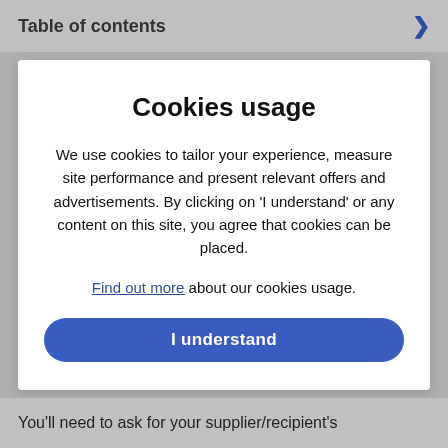Table of contents
Cookies usage
We use cookies to tailor your experience, measure site performance and present relevant offers and advertisements. By clicking on 'I understand' or any content on this site, you agree that cookies can be placed.
Find out more about our cookies usage.
I understand
You'll need to ask for your supplier/recipient's